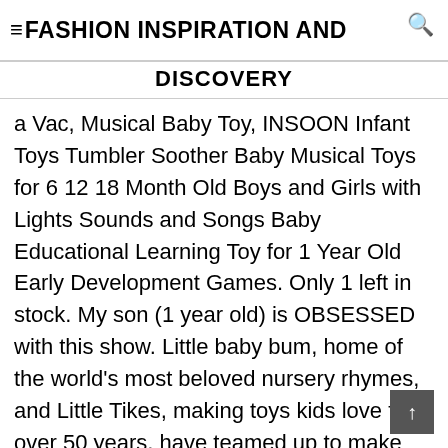≡FASHION INSPIRATION AND
DISCOVERY
a Vac, Musical Baby Toy, INSOON Infant Toys Tumbler Soother Baby Musical Toys for 6 12 18 Month Old Boys and Girls with Lights Sounds and Songs Baby Educational Learning Toy for 1 Year Old Early Development Games. Only 1 left in stock. My son (1 year old) is OBSESSED with this show. Little baby bum, home of the world's most beloved nursery rhymes, and Little Tikes, making toys kids love for over 50 years, have teamed up to make these awesome new musical learning toys! Reviewed in the United